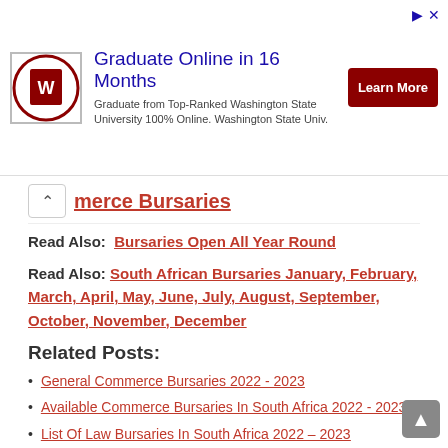[Figure (infographic): Advertisement banner for Washington State University online graduate program. Shows WSU logo, headline 'Graduate Online in 16 Months', subtext about Top-Ranked Washington State University 100% Online, and a dark red 'Learn More' button.]
merce Bursaries
Read Also:  Bursaries Open All Year Round
Read Also: South African Bursaries January, February, March, April, May, June, July, August, September, October, November, December
Related Posts:
General Commerce Bursaries 2022 - 2023
Available Commerce Bursaries In South Africa 2022 - 2023
List Of Law Bursaries In South Africa 2022 – 2023